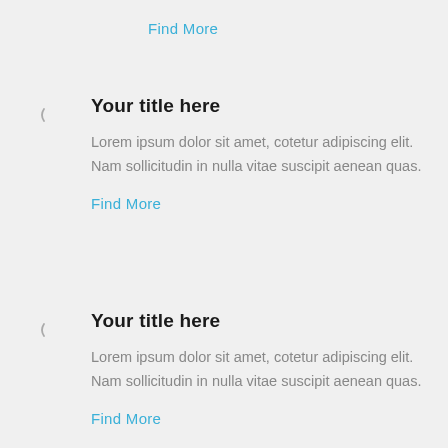Find More
Your title here
Lorem ipsum dolor sit amet, cotetur adipiscing elit. Nam sollicitudin in nulla vitae suscipit aenean quas.
Find More
Your title here
Lorem ipsum dolor sit amet, cotetur adipiscing elit. Nam sollicitudin in nulla vitae suscipit aenean quas.
Find More